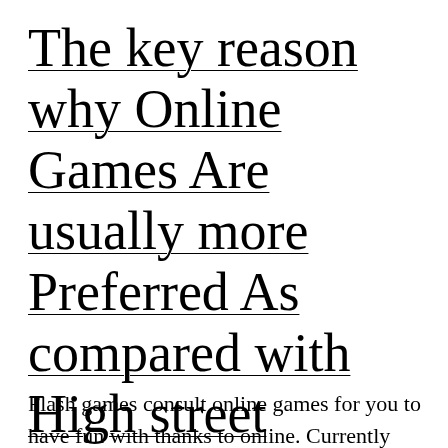The key reason why Online Games Are usually more Preferred As compared with High street Activities?
Flash games consult online games for you to have fun with thanks to online. Currently notice that